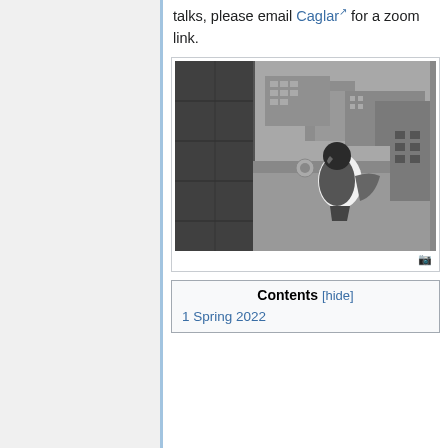talks, please email Caglar for a zoom link.
[Figure (photo): Black and white photograph of a bird (hawk/falcon) perched on a rooftop ledge with urban buildings in the background]
Contents [hide]
1 Spring 2022